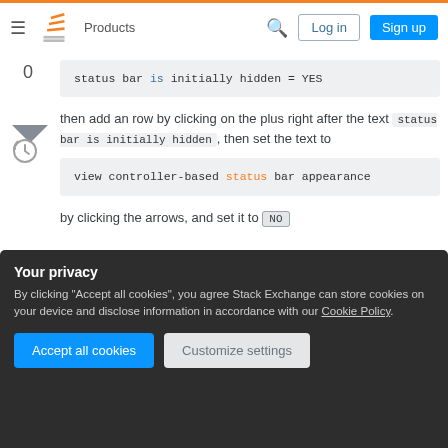Stack Overflow navigation: hamburger menu, logo, Products, search, Log in, Sign up
0
[Figure (other): downvote arrow (triangle) and history icon in vote column]
status bar is initially hidden = YES
then add an row by clicking on the plus right after the text status bar is initially hidden , then set the text to
view controller-based status bar appearance
by clicking the arrows, and set it to NO
Your privacy
By clicking "Accept all cookies", you agree Stack Exchange can store cookies on your device and disclose information in accordance with our Cookie Policy.
Accept all cookies
Customize settings